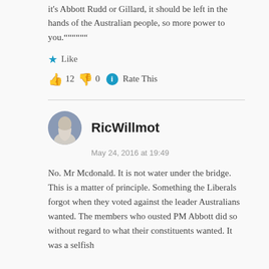it's Abbott Rudd or Gillard, it should be left in the hands of the Australian people, so more power to you.""""""
★ Like
👍 12 👎 0 ℹ Rate This
RicWillmot
May 24, 2016 at 19:49
No. Mr Mcdonald. It is not water under the bridge. This is a matter of principle. Something the Liberals forgot when they voted against the leader Australians wanted. The members who ousted PM Abbott did so without regard to what their constituents wanted. It was a selfish